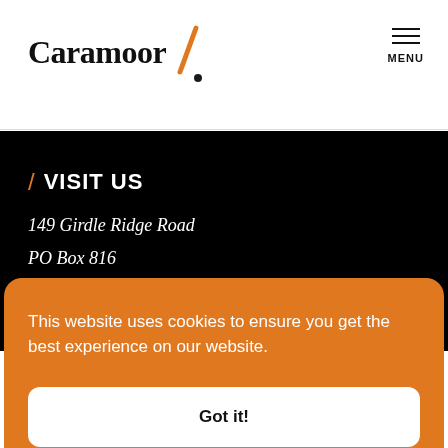Caramoor [logo] MENU
/ VISIT US
149 Girdle Ridge Road
PO Box 816
This website uses cookies to ensure you get the best experience on our website.
Got it!
Cookie Policy